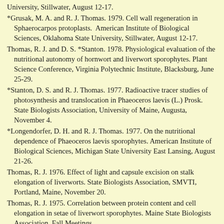American Institute of Biological Sciences, Oklahoma State University, Stillwater, August 12-17.
*Grusak, M. A. and R. J. Thomas. 1979. Cell wall regeneration in Sphaerocarpos protoplasts. American Institute of Biological Sciences, Oklahoma State University, Stillwater, August 12-17.
Thomas, R. J. and D. S. *Stanton. 1978. Physiological evaluation of the nutritional autonomy of hornwort and liverwort sporophytes. Plant Science Conference, Virginia Polytechnic Institute, Blacksburg, June 25-29.
*Stanton, D. S. and R. J. Thomas. 1977. Radioactive tracer studies of photosynthesis and translocation in Phaeoceros laevis (L.) Prosk. State Biologists Association, University of Maine, Augusta, November 4.
*Longendorfer, D. H. and R. J. Thomas. 1977. On the nutritional dependence of Phaeoceros laevis sporophytes. American Institute of Biological Sciences, Michigan State University East Lansing, August 21-26.
Thomas, R. J. 1976. Effect of light and capsule excision on stalk elongation of liverworts. State Biologists Association, SMVTI, Portland, Maine, November 20.
Thomas, R. J. 1975. Correlation between protein content and cell elongation in setae of liverwort sporophytes. Maine State Biologists Association, Fall Meetings.
Thomas, R. J. and W. T. Doyle. 1975. Cell wall analyses of elongating liverwort setae. American Society of Plant